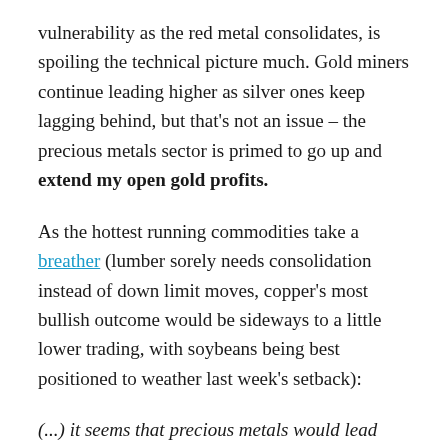vulnerability as the red metal consolidates, is spoiling the technical picture much. Gold miners continue leading higher as silver ones keep lagging behind, but that's not an issue – the precious metals sector is primed to go up and extend my open gold profits.
As the hottest running commodities take a breather (lumber sorely needs consolidation instead of down limit moves, copper's most bullish outcome would be sideways to a little lower trading, with soybeans being best positioned to weather last week's setback):
(...) it seems that precious metals would lead select pockets in commodities (yes, silver looks ready to do that job, and that extends to the so far still range bound silver